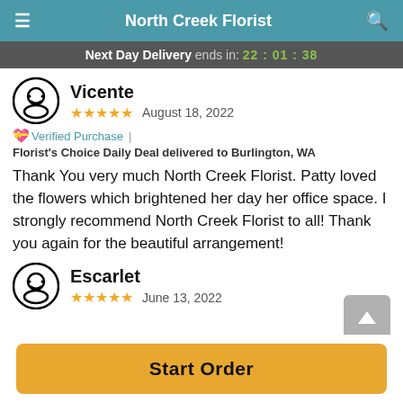North Creek Florist
Next Day Delivery ends in: 22:01:38
Vicente
★★★★★   August 18, 2022
💝 Verified Purchase | Florist's Choice Daily Deal delivered to Burlington, WA
Thank You very much North Creek Florist. Patty loved the flowers which brightened her day her office space. I strongly recommend North Creek Florist to all! Thank you again for the beautiful arrangement!
Escarlet
June 13, 2022
Start Order